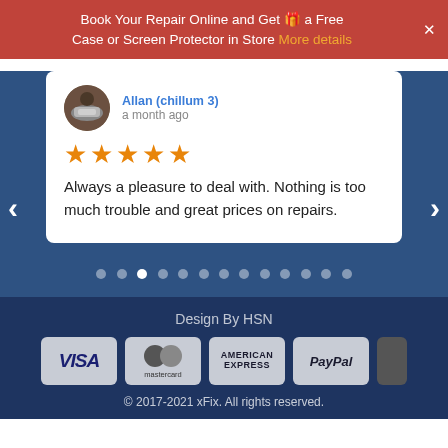Book Your Repair Online and Get 🎁 a Free Case or Screen Protector in Store More details
[Figure (photo): Circular avatar showing a BMW car parked indoors, used as reviewer profile picture]
Allan (chillum 3)
a month ago
[Figure (other): 5 orange star rating icons]
Always a pleasure to deal with. Nothing is too much trouble and great prices on repairs.
[Figure (other): Carousel navigation dots, 13 total with 3rd dot highlighted white]
Design By HSN
[Figure (other): Payment method icons: VISA, Mastercard, American Express, PayPal]
© 2017-2021 xFix. All rights reserved.